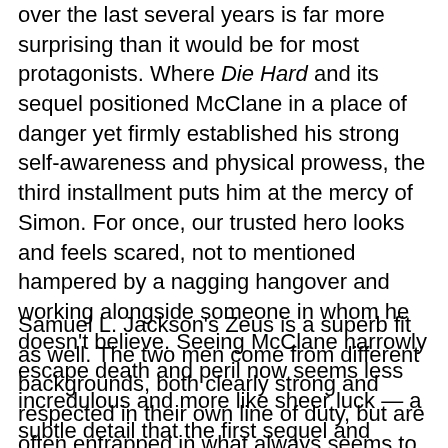over the last several years is far more surprising than it would be for most protagonists. Where Die Hard and its sequel positioned McClane in a place of danger yet firmly established his strong self-awareness and physical prowess, the third installment puts him at the mercy of Simon. For once, our trusted hero looks and feels scared, not to mentioned hampered by a nagging hangover and working alongside someone in whom he doesn't believe. Seeing McClane narrowly escape death and peril now seems less incredulous and more like sheer luck — a subtle detail that the first sequel and Harlin couldn't quite pull off. It all felt more like a superhero movie.
Samuel L. Jackson's Zeus is a superb fit as well. The two men come from different backgrounds, both clearly strong and respected in their own line of duty, but are often entrapped in what always seems to be a potentially incendiary display of racial